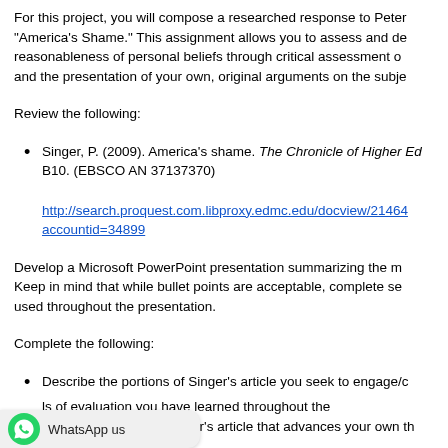For this project, you will compose a researched response to Peter "America's Shame." This assignment allows you to assess and de reasonableness of personal beliefs through critical assessment of and the presentation of your own, original arguments on the subje
Review the following:
Singer, P. (2009). America's shame. The Chronicle of Higher Ed B10. (EBSCO AN 37137370)
http://search.proquest.com.libproxy.edmc.edu/docview/21464 accountid=34899
Develop a Microsoft PowerPoint presentation summarizing the m Keep in mind that while bullet points are acceptable, complete se used throughout the presentation.
Complete the following:
Describe the portions of Singer's article you seek to engage/c
ls of evaluation you have learned throughout the original argument to Singer's article that advances your own th